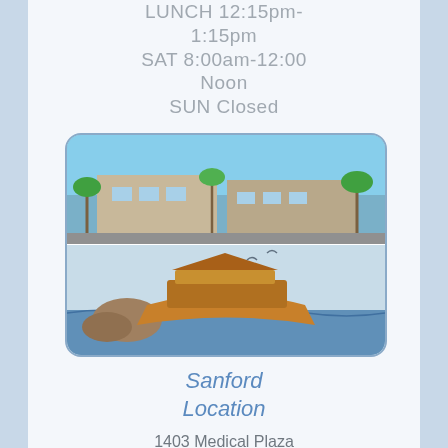LUNCH 12:15pm-1:15pm
SAT 8:00am-12:00 Noon
SUN Closed
[Figure (photo): Two-part image: top half shows a medical office building exterior with palm trees; bottom half shows an illustrated wooden boat/ark on water with rocks]
Sanford Location
1403 Medical Plaza Drive, Ste 104
Sanford, FL 32771
Link to Map
MON & Fri 8:00am-